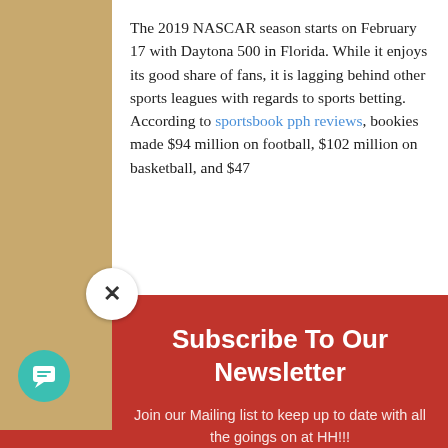The 2019 NASCAR season starts on February 17 with Daytona 500 in Florida. While it enjoys its good share of fans, it is lagging behind other sports leagues with regards to sports betting. According to sportsbook pph reviews, bookies made $94 million on football, $102 million on basketball, and $47
Subscribe To Our Newsletter
Join our Mailing list to keep up to date with all the goings on at HH!!!
Email
SUBSCRIBE!